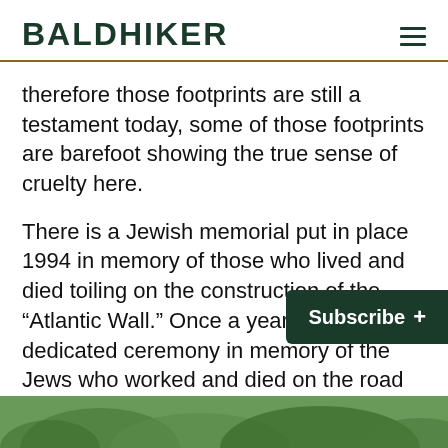BALDHIKER
therefore those footprints are still a testament today, some of those footprints are barefoot showing the true sense of cruelty here.
There is a Jewish memorial put in place 1994 in memory of those who lived and died toiling on the construction of the “Atlantic Wall.” Once a year there is a dedicated ceremony in memory of the Jews who worked and died on the road constructing the Atlantic Wall at the hands of the Nazi regime. 1942 –1944
[Figure (screenshot): Subscribe button (dark green) with plus sign in bottom right corner, and a photo strip at the bottom of the page showing trees.]